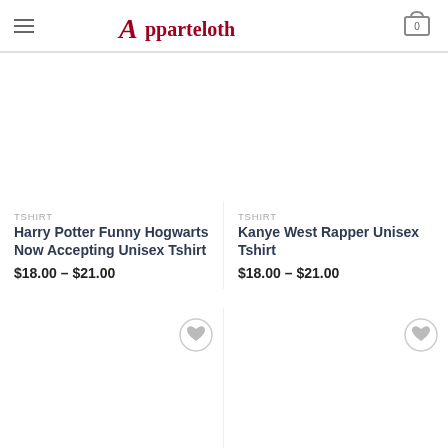Apparteloth - navigation header with hamburger menu and cart (0 items)
TSHIRT
Harry Potter Funny Hogwarts Now Accepting Unisex Tshirt
$18.00 – $21.00
TSHIRT
Kanye West Rapper Unisex Tshirt
$18.00 – $21.00
[Figure (other): Product listing card with wishlist heart icon button]
[Figure (other): Product listing card with wishlist heart icon button]